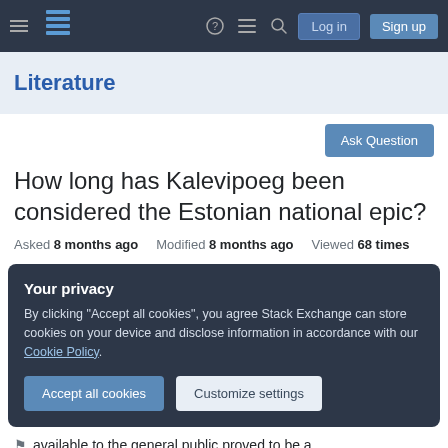Literature — Stack Exchange navigation bar with Log in and Sign up buttons
Literature
Ask Question
How long has Kalevipoeg been considered the Estonian national epic?
Asked 8 months ago  Modified 8 months ago  Viewed 68 times
Your privacy
By clicking "Accept all cookies", you agree Stack Exchange can store cookies on your device and disclose information in accordance with our Cookie Policy.
Accept all cookies   Customize settings
available to the general public proved to be a